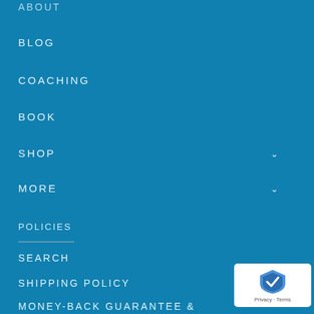ABOUT
BLOG
COACHING
BOOK
SHOP
MORE
POLICIES
SEARCH
SHIPPING POLICY
MONEY-BACK GUARANTEE & REFUND POLICY
[Figure (logo): reCAPTCHA badge with shield icon and Privacy - Terms text]